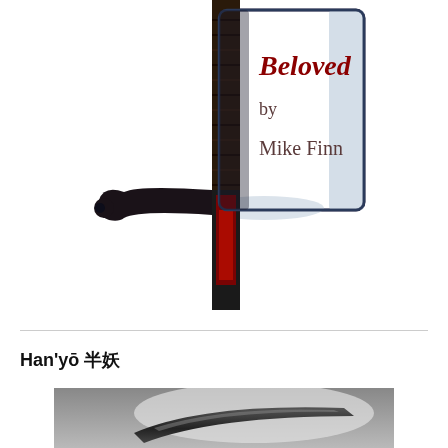[Figure (illustration): Book cover illustration showing a dark sword/saber with a decorated guard, set against white background. Text on cover reads 'Beloved by Mike Finn' in dark red/maroon italic font over a white page-shaped area on the sword guard.]
Han'yō 半妖
[Figure (photo): Partial black and white photograph showing what appears to be a curved blade or similar object against a light grey background.]